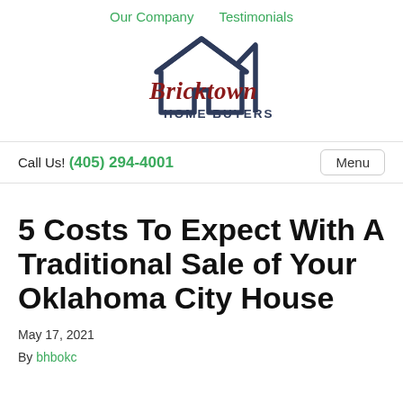Our Company   Testimonials
[Figure (logo): Bricktown Home Buyers logo with house icon in dark navy blue and red/dark red script text]
Call Us! (405) 294-4001   Menu
5 Costs To Expect With A Traditional Sale of Your Oklahoma City House
May 17, 2021
By bhbokc